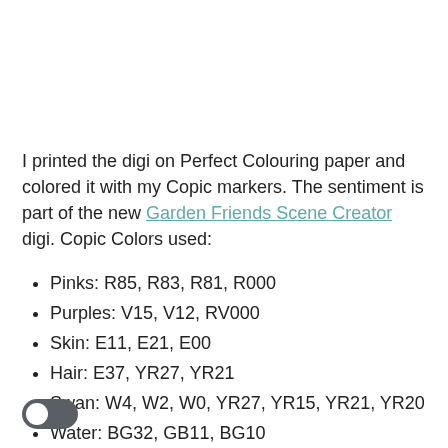I printed the digi on Perfect Colouring paper and colored it with my Copic markers. The sentiment is part of the new Garden Friends Scene Creator digi. Copic Colors used:
Pinks: R85, R83, R81, R000
Purples: V15, V12, RV000
Skin: E11, E21, E00
Hair: E37, YR27, YR21
Swan: W4, W2, W0, YR27, YR15, YR21, YR20
Water: BG32, GB11, BG10